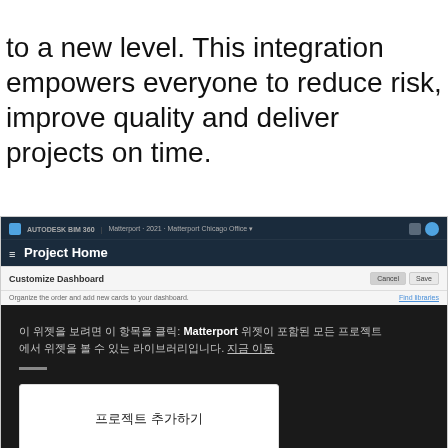to a new level. This integration empowers everyone to reduce risk, improve quality and deliver projects on time.
[Figure (screenshot): Screenshot of Autodesk BIM 360 Project Home dashboard with Customize Dashboard panel showing dark area with Korean text referencing Matterport integration, and a white card button below.]